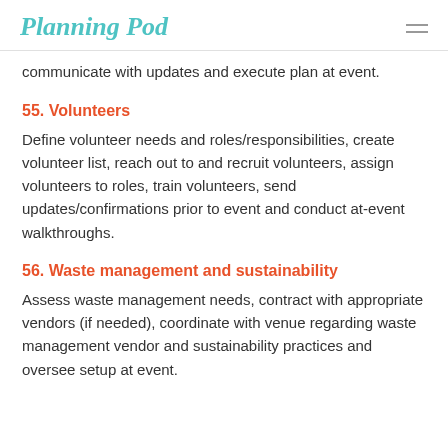Planning Pod
communicate with updates and execute plan at event.
55. Volunteers
Define volunteer needs and roles/responsibilities, create volunteer list, reach out to and recruit volunteers, assign volunteers to roles, train volunteers, send updates/confirmations prior to event and conduct at-event walkthroughs.
56. Waste management and sustainability
Assess waste management needs, contract with appropriate vendors (if needed), coordinate with venue regarding waste management vendor and sustainability practices and oversee setup at event.